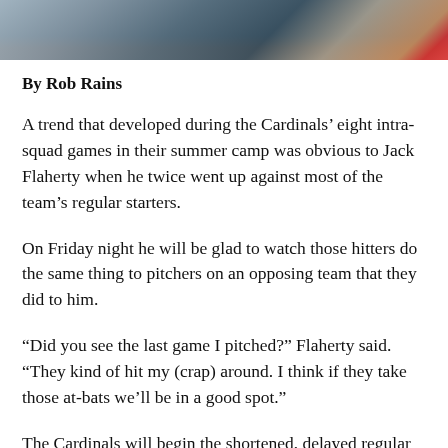[Figure (photo): A baseball photo strip showing players in action, cropped at the top of the page.]
By Rob Rains
A trend that developed during the Cardinals' eight intra-squad games in their summer camp was obvious to Jack Flaherty when he twice went up against most of the team's regular starters.
On Friday night he will be glad to watch those hitters do the same thing to pitchers on an opposing team that they did to him.
“Did you see the last game I pitched?” Flaherty said. “They kind of hit my (crap) around. I think if they take those at-bats we’ll be in a good spot.”
The Cardinals will begin the shortened, delayed regular season against the Pirates at Busch Stadium, beginning the 60-game sprint with more questions about what they will be able to accomplish offensively than with any other aspect of their